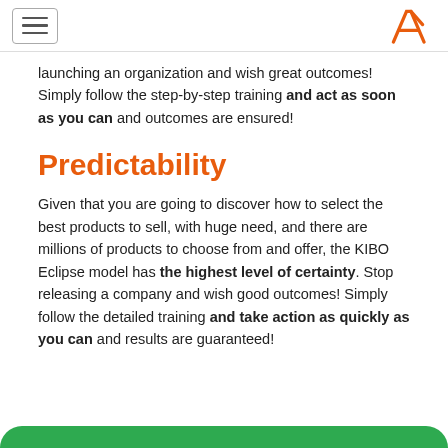launching an organization and wish great outcomes! Simply follow the step-by-step training and act as soon as you can and outcomes are ensured!
Predictability
Given that you are going to discover how to select the best products to sell, with huge need, and there are millions of products to choose from and offer, the KIBO Eclipse model has the highest level of certainty. Stop releasing a company and wish good outcomes! Simply follow the detailed training and take action as quickly as you can and results are guaranteed!